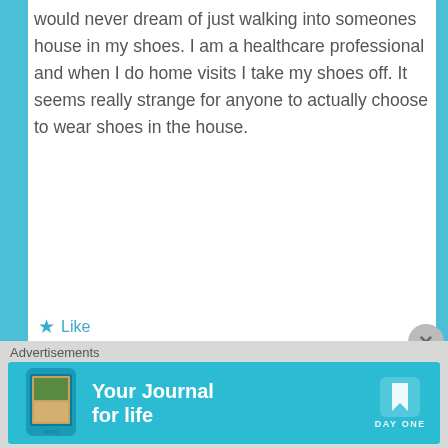would never dream of just walking into someones house in my shoes. I am a healthcare professional and when I do home visits I take my shoes off. It seems really strange for anyone to actually choose to wear shoes in the house.
★ Like
REPLY
expatsincebirth
November 24, 2013 at 4:05 pm
Thank you very much for your comment, Mark! May I ask you if you were used to
Advertisements
[Figure (infographic): Day One app advertisement banner: teal/cyan background with phone image on the left, 'Your Journal for life' text in white, and Day One logo/text on the right.]